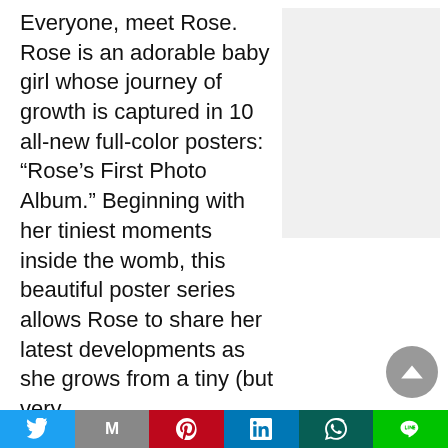Everyone, meet Rose. Rose is an adorable baby girl whose journey of growth is captured in 10 all-new full-color posters: “Rose’s First Photo Album.” Beginning with her tiniest moments inside the womb, this beautiful poster series allows Rose to share her latest developments as she grows from a tiny (but very
[Figure (photo): A light gray placeholder rectangle representing an image of Rose]
[Figure (other): Social sharing bar with Twitter, Gmail, Pinterest, LinkedIn, WhatsApp, and Line buttons]